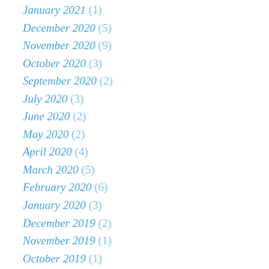January 2021 (1)
December 2020 (5)
November 2020 (9)
October 2020 (3)
September 2020 (2)
July 2020 (3)
June 2020 (2)
May 2020 (2)
April 2020 (4)
March 2020 (5)
February 2020 (6)
January 2020 (3)
December 2019 (2)
November 2019 (1)
October 2019 (1)
September 2019 (1)
July 2019 (3)
June 2019 (3)
May 2019 (4)
April 2019 (3)